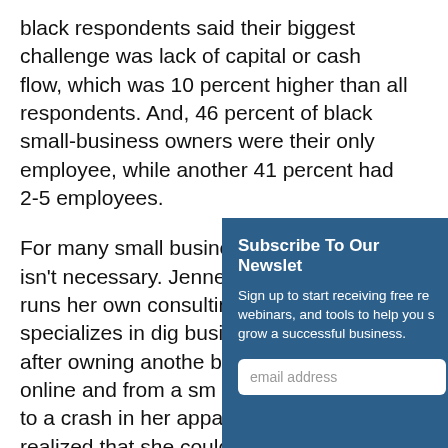black respondents said their biggest challenge was lack of capital or cash flow, which was 10 percent higher than all respondents. And, 46 percent of black small-business owners were their only employee, while another 41 percent had 2-5 employees.
For many small businesses, a large staff isn't necessary. Jennene Biggins, 52, runs her own consulting firm that specializes in dig businesses. She start after owning anothe boutique that sold w online and from a sm basement of her ho to a crash in her apparel sales, Biggins realized that she could turn the expertise she developed in online
[Figure (other): Newsletter subscription popup overlay with dark blue background. Title: 'Subscribe To Our Newsletter'. Body text: 'Sign up to start receiving free re webinars, and tools to help you s grow a successful business.' Below is an email address input field.]